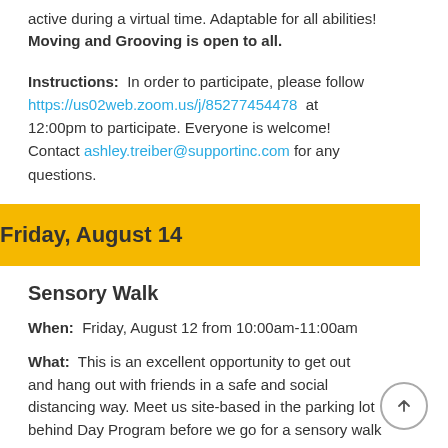active during a virtual time. Adaptable for all abilities! Moving and Grooving is open to all.
Instructions: In order to participate, please follow https://us02web.zoom.us/j/85277454478 at 12:00pm to participate. Everyone is welcome! Contact ashley.treiber@supportinc.com for any questions.
Friday, August 14
Sensory Walk
When: Friday, August 12 from 10:00am-11:00am
What: This is an excellent opportunity to get out and hang out with friends in a safe and social distancing way. Meet us site-based in the parking lot behind Day Program before we go for a sensory walk